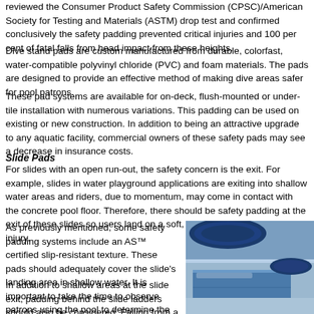reviewed the Consumer Product Safety Commission (CPSC)/American Society for Testing and Materials (ASTM) drop test and confirmed conclusively the safety padding prevented critical injuries and 100 per cent of fatal falls from head impact from these heights.
Dive stand pads are custom manufactured from durable, colorfast, water-compatible polyvinyl chloride (PVC) and foam materials. The pads are designed to provide an effective method of making dive areas safer for pool patrons.
These pad systems are available for on-deck, flush-mounted or under-tile installation with numerous variations. This padding can be used on existing or new construction. In addition to being an attractive upgrade to any aquatic facility, commercial owners of these safety pads may see a decrease in insurance costs.
Slide Pads
For slides with an open run-out, the safety concern is the exit. For example, slides in water playground applications are exiting into shallow water areas and riders, due to momentum, may come in contact with the concrete pool floor. Therefore, there should be safety padding at the exit of these slides so users land on a soft, padded surface to avoid injury.
As previously mentioned, some safety padding systems include an AS™ certified slip-resistant texture. These pads should adequately cover the slide's landing area in shallow water. It is important to take the time to observe patrons using the pool to determine the areas of potential injury before purchasing safety padding.
[Figure (photo): Photo showing blue PVC/foam safety padding materials rolled and laid flat, appearing to be pool safety pad products]
In addition to shallow areas at the slide exit, padding behind the slide ladders should also be considered. Falling from a ladder can be